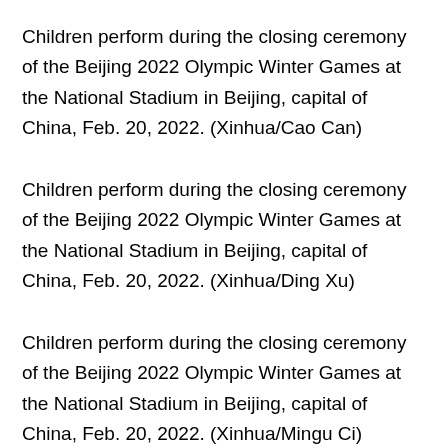Children perform during the closing ceremony of the Beijing 2022 Olympic Winter Games at the National Stadium in Beijing, capital of China, Feb. 20, 2022. (Xinhua/Cao Can)
Children perform during the closing ceremony of the Beijing 2022 Olympic Winter Games at the National Stadium in Beijing, capital of China, Feb. 20, 2022. (Xinhua/Ding Xu)
Children perform during the closing ceremony of the Beijing 2022 Olympic Winter Games at the National Stadium in Beijing, capital of China, Feb. 20, 2022. (Xinhua/Mingu Ci)